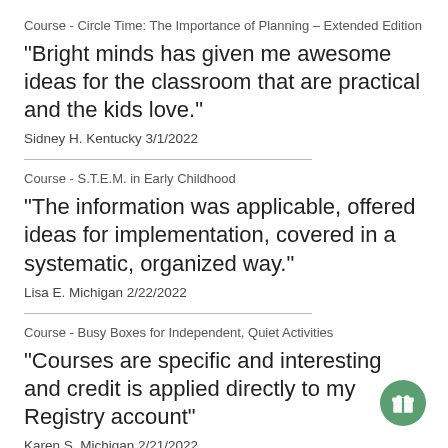Course - Circle Time: The Importance of Planning – Extended Edition
"Bright minds has given me awesome ideas for the classroom that are practical and the kids love."
Sidney H. Kentucky 3/1/2022
Course - S.T.E.M. in Early Childhood
"The information was applicable, offered ideas for implementation, covered in a systematic, organized way."
Lisa E. Michigan 2/22/2022
Course - Busy Boxes for Independent, Quiet Activities
"Courses are specific and interesting and credit is applied directly to my Registry account"
Karen S. Michigan 2/21/2022